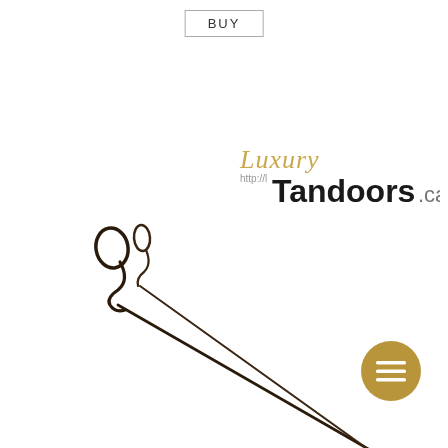BUY
[Figure (logo): Luxury Tandoors logo with script 'Luxury' in gold italic, 'Tandoors' in bold black, '.ca' in grey, and URL 'http://l...' below the script text]
[Figure (photo): Two long thin metal tandoor skewers with loop/hook handles at the top, arranged diagonally on a white background]
[Figure (other): Gold circular menu/list button icon with three horizontal lines (hamburger menu icon) on a white circular background]